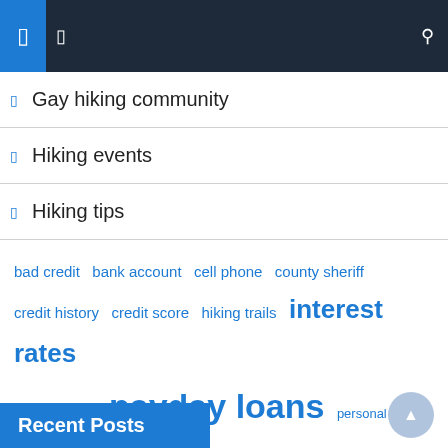Navigation header with menu and search icons
Gay hiking community
Hiking events
Hiking tips
bad credit  bank account  cell phone  county sheriff  credit history  credit score  hiking trails  interest rates  loan amount  payday loans  personal loans  san francisco  short term  state park  united states
Recent Posts